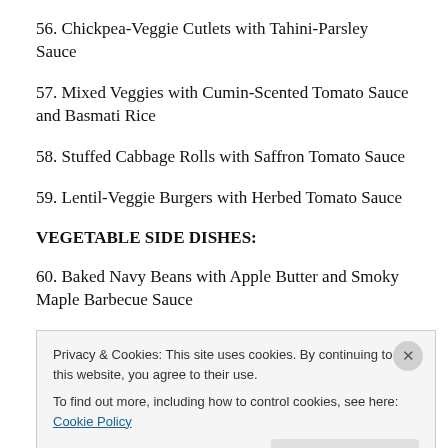56. Chickpea-Veggie Cutlets with Tahini-Parsley Sauce
57. Mixed Veggies with Cumin-Scented Tomato Sauce and Basmati Rice
58. Stuffed Cabbage Rolls with Saffron Tomato Sauce
59. Lentil-Veggie Burgers with Herbed Tomato Sauce
VEGETABLE SIDE DISHES:
60. Baked Navy Beans with Apple Butter and Smoky Maple Barbecue Sauce
Privacy & Cookies: This site uses cookies. By continuing to use this website, you agree to their use.
To find out more, including how to control cookies, see here: Cookie Policy
Close and accept